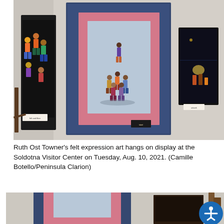[Figure (photo): Ruth Ost Towner's felt expression art quilts hanging on a wall at the Soldotna Visitor Center. A large decorative quilt with blue floral border and pink inner border is displayed centrally, showing felt figures of people in a circle. Other dark-background folk art pieces are visible on the left and right walls.]
Ruth Ost Towner's felt expression art hangs on display at the Soldotna Visitor Center on Tuesday, Aug. 10, 2021. (Camille Botello/Peninsula Clarion)
[Figure (photo): Partial bottom view of the same or similar felt expression art quilts at the Soldotna Visitor Center, showing the bottom portion of hanging quilts with blue floral and pink borders.]